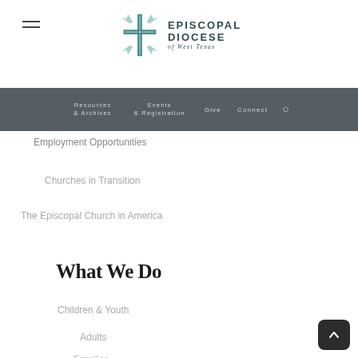Episcopal Diocese of West Texas — site header with logo and navigation
Employment Opportunities
Churches in Transition
The Episcopal Church in America
What We Do
Children & Youth
Adults
Families
Ministries
Committees & Commissions